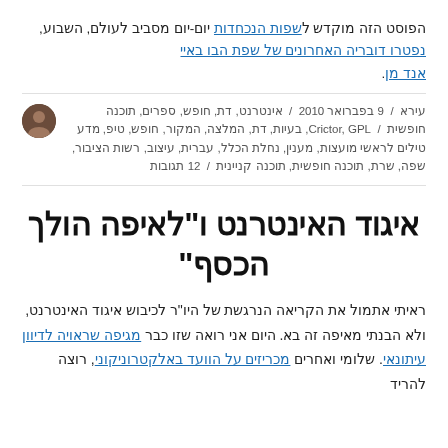הפוסט הזה מוקדש לשפות הנכחדות יום-יום מסביב לעולם, השבוע, נפטרו דובריה האחרונים של שפת הבו באיי אנדמן.
עירא / 9 בפברואר 2010 / אינטרנט, דת, חופש, ספרים, תוכנה חופשית / Crictor, GPL, בעיות, דת, המלצה, המקור, חופש, טיפ, מדע טילים לראשי מועצות, מענין, נחלת הכלל, עברית, עיצוב, רשות הציבור, שפה, שרת, תוכנה חופשית, תוכנה קניינית / 12 תגובות
איגוד האינטרנט ו"לאיפה הולך הכסף"
ראיתי אתמול את הקריאה הנרגשת של היו"ר לכיבוש איגוד האינטרנט, ולא הבנתי מאיפה זה בא. היום אני רואה שזו כבר מגיפה שראויה לדיוון עיתונאי. שלומי ואחרים מכריזים על הוועד באלקטרוניקוני, רוצה להריד